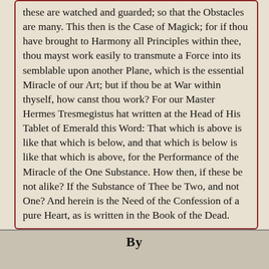these are watched and guarded; so that the Obstacles are many. This then is the Case of Magick; for if thou have brought to Harmony all Principles within thee, thou mayst work easily to transmute a Force into its semblable upon another Plane, which is the essential Miracle of our Art; but if thou be at War within thyself, how canst thou work? For our Master Hermes Tresmegistus hat written at the Head of His Tablet of Emerald this Word: That which is above is like that which is below, and that which is below is like that which is above, for the Performance of the Miracle of the One Substance. How then, if these be not alike? If the Substance of Thee be Two, and not One? And herein is the Need of the Confession of a pure Heart, as is written in the Book of the Dead.
By